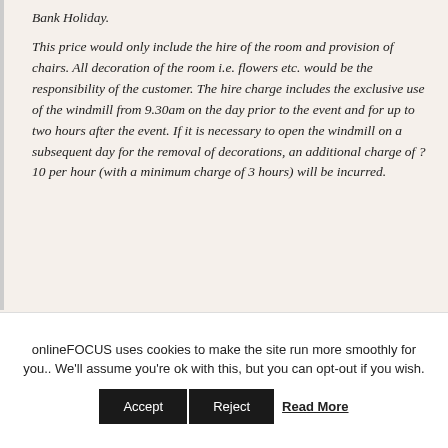Bank Holiday. This price would only include the hire of the room and provision of chairs. All decoration of the room i.e. flowers etc. would be the responsibility of the customer. The hire charge includes the exclusive use of the windmill from 9.30am on the day prior to the event and for up to two hours after the event. If it is necessary to open the windmill on a subsequent day for the removal of decorations, an additional charge of ?10 per hour (with a minimum charge of 3 hours) will be incurred.
onlineFOCUS uses cookies to make the site run more smoothly for you.. We'll assume you're ok with this, but you can opt-out if you wish.
Accept | Reject | Read More